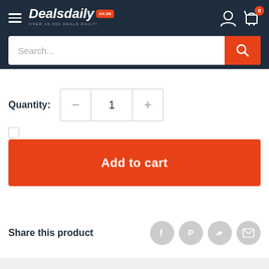[Figure (screenshot): Dealsdaily.co.za website header with logo, hamburger menu, user icon, and cart with 0 badge]
Search...
Quantity: 1
Add to cart
Share this product